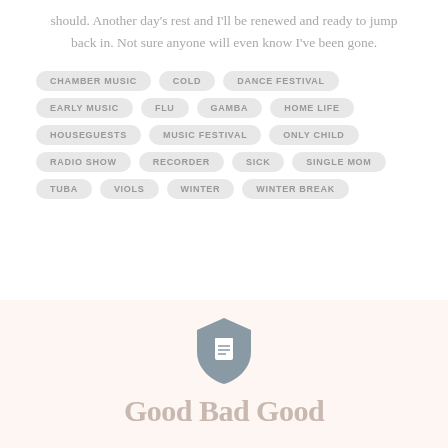should. Another day's rest and I'll be renewed and ready to jump back in. Not sure anyone will even know I've been gone.
CHAMBER MUSIC
COLD
DANCE FESTIVAL
EARLY MUSIC
FLU
GAMBA
HOME LIFE
HOUSEGUESTS
MUSIC FESTIVAL
ONLY CHILD
RADIO SHOW
RECORDER
SICK
SINGLE MOM
TUBA
VIOLS
WINTER
WINTER BREAK
[Figure (logo): Shield-shaped document icon in grey]
Good Bad Good